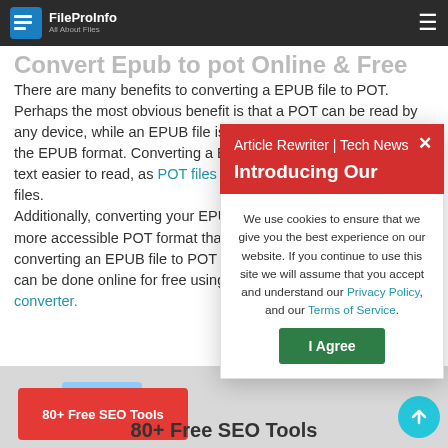FileProInfo – All About Files (navigation bar)
Convert Epub to pot Online & Free
There are many benefits to converting a EPUB file to POT. Perhaps the most obvious benefit is that a POT can be read by any device, while an EPUB file is limited to devices that support the EPUB format. Converting a EPUB to POT also makes the text easier to read, as POT files tend to be larger than EPUB files. Additionally, converting your EPUB to POT makes the document, more accessible POT format that also makes it easier for converting an EPUB file to POT format. Converting EPUB to POT can be done online for free using our EPUB to POT converter.
[Figure (screenshot): Red popup modal titled 'Article Rewriter | Tech News' with close X button and bold text 'Introducing Our']
We use cookies to ensure that we give you the best experience on our website. If you continue to use this site we will assume that you accept and understand our Privacy Policy, and our Terms of Service.
I Agree (button)
[Figure (screenshot): Bottom banner area showing '80+ Free SEO Tools' text with gray background and colored buttons, plus a cyan circular arrow-up button]